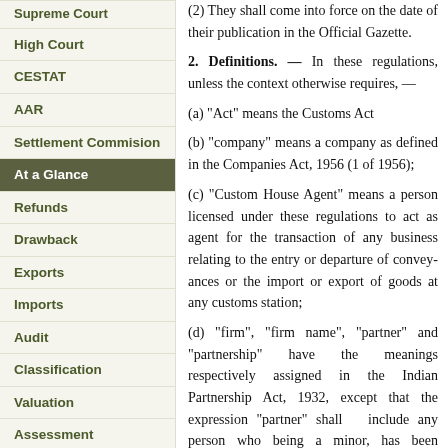Supreme Court
High Court
CESTAT
AAR
Settlement Commision
At a Glance
Refunds
Drawback
Exports
Imports
Audit
Classification
Valuation
Assessment
Adjudication
Penal Provisions
SEZ
Budget NEW
Download Forms
(2) They shall come into force on the date of their publication in the Official Gazette.
2. Definitions. — In these regulations, unless the context otherwise requires, —
(a) "Act" means the Customs Act
(b) "company" means a company as defined in the Companies Act, 1956 (1 of 1956);
(c) "Custom House Agent" means a person licensed under these regulations to act as agent for the transaction of any business relating to the entry or departure of conveyances or the import or export of goods at any customs station;
(d) "firm", "firm name", "partner" and "partnership" have the meanings respectively assigned in the Indian Partnership Act, 1932, except that the expression "partner" shall include any person who being a minor, has been admitted to the
(e) "form" means a form appended
(f) "section" means a Section of t
(g) The expressions "Commissioner" and "Board" shall have the same meanings as in the Cu
3. Licence where not required — No licence shall be required by :—